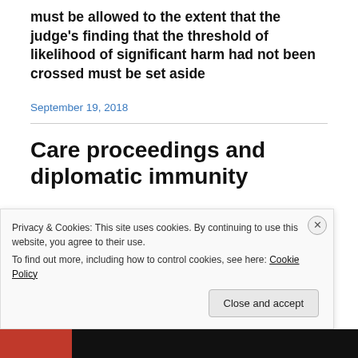must be allowed to the extent that the judge's finding that the threshold of likelihood of significant harm had not been crossed must be set aside
September 19, 2018
Care proceedings and diplomatic immunity
Privacy & Cookies: This site uses cookies. By continuing to use this website, you agree to their use.
To find out more, including how to control cookies, see here: Cookie Policy